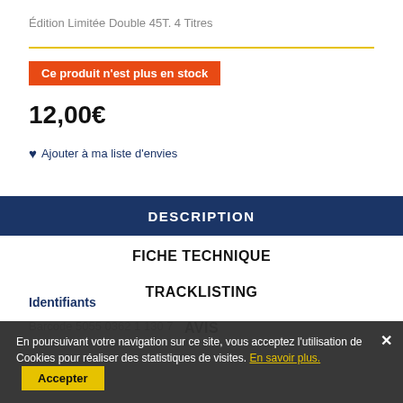Édition Limitée Double 45T. 4 Titres
Ce produit n'est plus en stock
12,00€
♥ Ajouter à ma liste d'envies
DESCRIPTION
FICHE TECHNIQUE
TRACKLISTING
AVIS
Identifiants
Barcode 5055 0362 1 130 7
En poursuivant votre navigation sur ce site, vous acceptez l'utilisation de Cookies pour réaliser des statistiques de visites. En savoir plus. Accepter